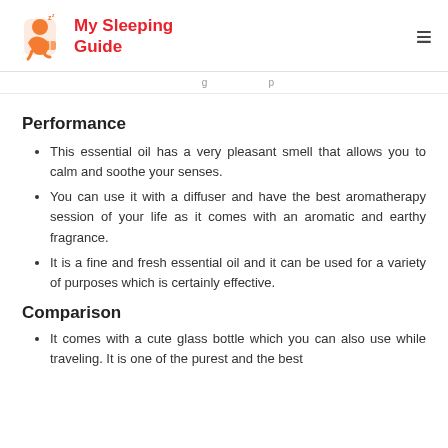My Sleeping Guide
Performance
This essential oil has a very pleasant smell that allows you to calm and soothe your senses.
You can use it with a diffuser and have the best aromatherapy session of your life as it comes with an aromatic and earthy fragrance.
It is a fine and fresh essential oil and it can be used for a variety of purposes which is certainly effective.
Comparison
It comes with a cute glass bottle which you can also use while traveling. It is one of the purest and the best